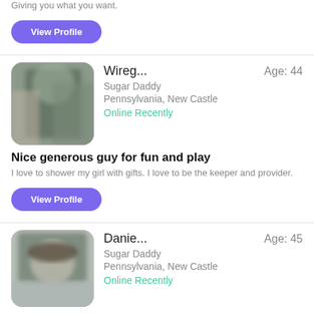Giving you what you want.
View Profile
[Figure (photo): Blurred profile photo of Wireg..., male user, standing indoors near metal bars or fence, wearing dark shirt]
Wireg...  Age: 44  Sugar Daddy  Pennsylvania, New Castle  Online Recently
Nice generous guy for fun and play
I love to shower my girl with gifts. I love to be the keeper and provider.
View Profile
[Figure (photo): Blurred profile photo of Danie..., male user, wearing a hat, indoors]
Danie...  Age: 45  Sugar Daddy  Pennsylvania, New Castle  Online Recently